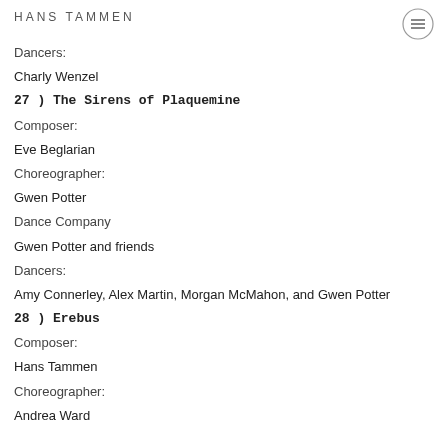HANS TAMMEN
Dancers:
Charly Wenzel
27 ) The Sirens of Plaquemine
Composer:
Eve Beglarian
Choreographer:
Gwen Potter
Dance Company
Gwen Potter and friends
Dancers:
Amy Connerley, Alex Martin, Morgan McMahon, and Gwen Potter
28 ) Erebus
Composer:
Hans Tammen
Choreographer:
Andrea Ward